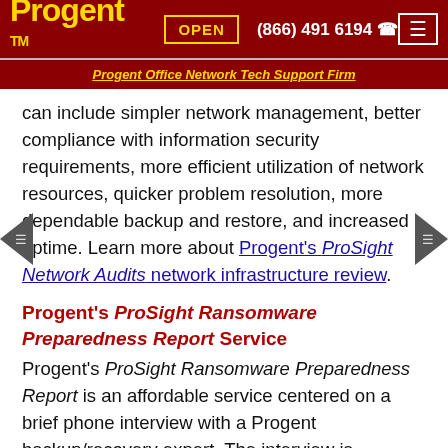Progent™  OPEN  (866) 491 6194
Progent Office Network Tech Support Firm
can include simpler network management, better compliance with information security requirements, more efficient utilization of network resources, quicker problem resolution, more dependable backup and restore, and increased uptime. Learn more about Progent's ProSight Network Audits network infrastructure review.
Progent's ProSight Ransomware Preparedness Report Service
Progent's ProSight Ransomware Preparedness Report is an affordable service centered on a brief phone interview with a Progent backup/recovery expert. The interview is intended to help evaluate your company's ability either to block ransomware or recover quickly after an assault by a ransomware